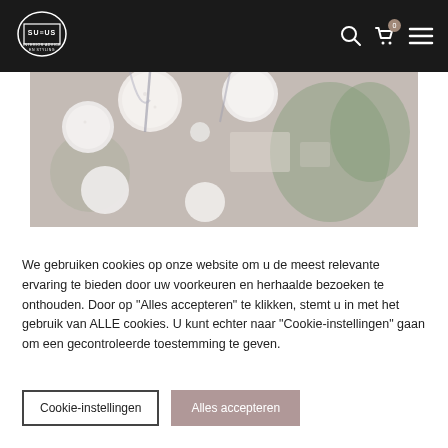[Figure (logo): SuS Us interior advice and styling logo in white on dark background]
[Figure (photo): White cotton ball string lights hanging, blurred green plants and store interior in background]
We gebruiken cookies op onze website om u de meest relevante ervaring te bieden door uw voorkeuren en herhaalde bezoeken te onthouden. Door op "Alles accepteren" te klikken, stemt u in met het gebruik van ALLE cookies. U kunt echter naar "Cookie-instellingen" gaan om een gecontroleerde toestemming te geven.
Cookie-instellingen
Alles accepteren